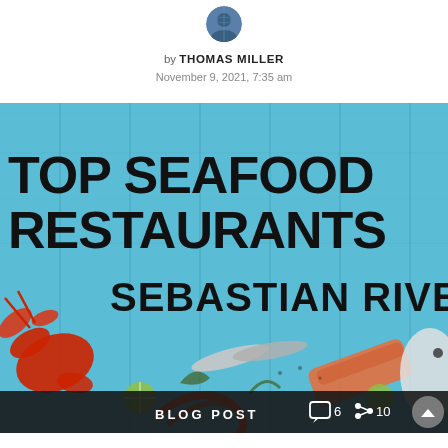[Figure (illustration): User avatar/profile icon circle at top center]
by THOMAS MILLER
November 9, 2021, 7:35 am
[Figure (photo): Seafood restaurant promotional image with bold text 'TOP SEAFOOD RESTAURANTS SEBASTIAN RIVERFRO[NT]' on a blue wooden background with lobster, fish, shrimp, and salmon arranged artistically. Bottom bar shows 'BLOG POST' label with comment count 6 and share count 10.]